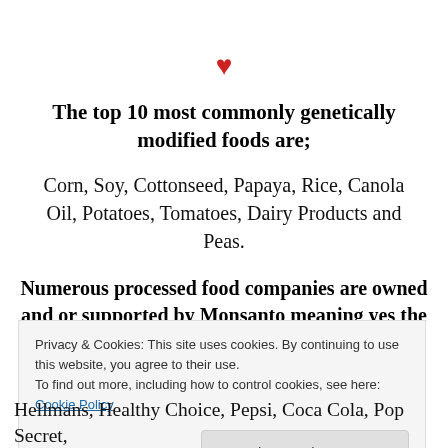[Figure (illustration): Red heart icon centered near top of page]
The top 10 most commonly genetically modified foods are;
Corn, Soy, Cottonseed, Papaya, Rice, Canola Oil, Potatoes, Tomatoes, Dairy Products and Peas.
Numerous processed food companies are owned and or supported by Monsanto meaning yes the have
Privacy & Cookies: This site uses cookies. By continuing to use this website, you agree to their use.
To find out more, including how to control cookies, see here: Cookie Policy
Hellmans, Healthy Choice, Pepsi, Coca Cola, Pop Secret,